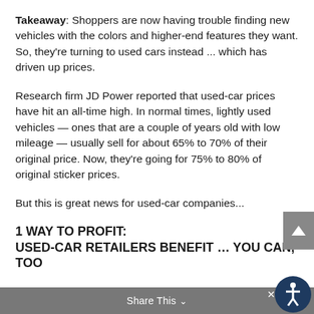Takeaway: Shoppers are now having trouble finding new vehicles with the colors and higher-end features they want. So, they're turning to used cars instead ... which has driven up prices.
Research firm JD Power reported that used-car prices have hit an all-time high. In normal times, lightly used vehicles — ones that are a couple of years old with low mileage — usually sell for about 65% to 70% of their original price. Now, they're going for 75% to 80% of original sticker prices.
But this is great news for used-car companies...
1 WAY TO PROFIT:
USED-CAR RETAILERS BENEFIT … YOU CAN, TOO